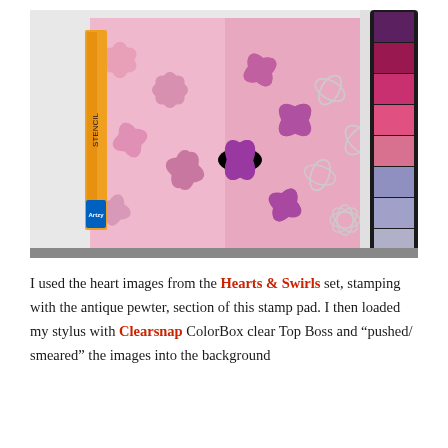[Figure (photo): A craft/stamping photo showing a floral stencil pattern on paper with pink/purple hues, an Artzy stencil ruler on the left, and a Clearsnap ColorBox ink pad with multiple color swatches on the right.]
I used the heart images from the Hearts & Swirls set, stamping with the antique pewter, section of this stamp pad. I then loaded my stylus with Clearsnap ColorBox clear Top Boss and "pushed/smeared" the images into the background